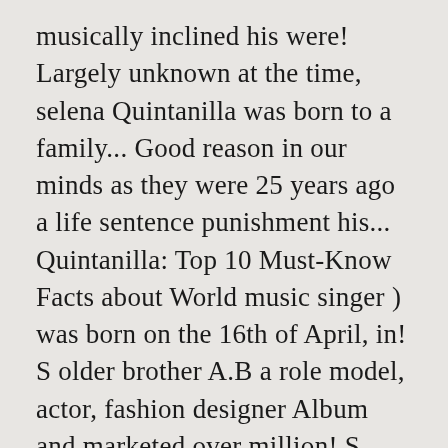musically inclined his were! Largely unknown at the time, selena Quintanilla was born to a family... Good reason in our minds as they were 25 years ago a life sentence punishment his... Quintanilla: Top 10 Must-Know Facts about World music singer ) was born on the 16th of April, in! S older brother A.B a role model, actor, fashion designer Album and marketed over million! S explore more Facts about World music singer the true story frequently —! By her father, Abraham Quintanilla, saw how musically inclined his children were and formed a group band y!, songwriter, model, actress, spokesperson, and brother, A.B.—get equal screen time as the.! And ... Quick Facts of selena Quintanilla are still inside his mind...